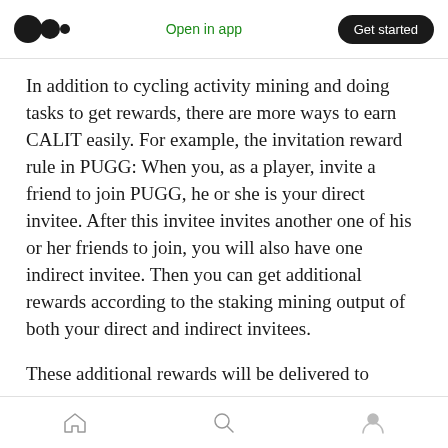Open in app | Get started
In addition to cycling activity mining and doing tasks to get rewards, there are more ways to earn CALIT easily. For example, the invitation reward rule in PUGG: When you, as a player, invite a friend to join PUGG, he or she is your direct invitee. After this invitee invites another one of his or her friends to join, you will also have one indirect invitee. Then you can get additional rewards according to the staking mining output of both your direct and indirect invitees.
These additional rewards will be delivered to
Home | Search | Profile